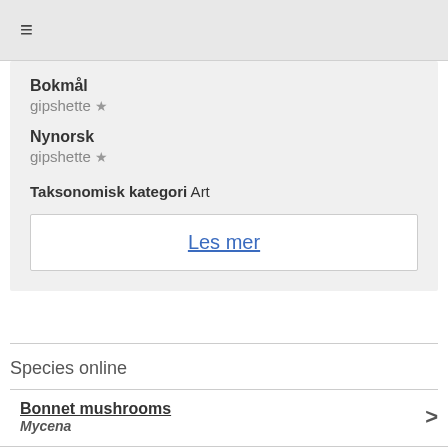≡
Bokmål
gipshette ★
Nynorsk
gipshette ★
Taksonomisk kategori Art
Les mer
Species online
Bonnet mushrooms
Mycena
Sacchariferae